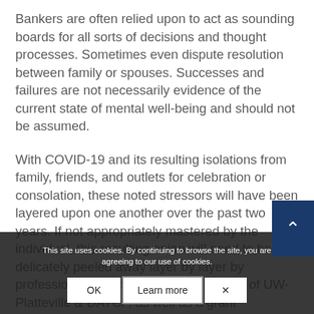Bankers are often relied upon to act as sounding boards for all sorts of decisions and thought processes. Sometimes even dispute resolution between family or spouses. Successes and failures are not necessarily evidence of the current state of mental well-being and should not be assumed.
With COVID-19 and its resulting isolations from family, friends, and outlets for celebration or consolation, these noted stressors will have been layered upon one another over the past two years. If not appropriately mastered by the individual, this resulting onion will need to be delicately peeled away layer by layer by professionals. Jointly funded (2) ... ships of UW-Platteville & DATCP, as well as a grant
This site uses cookies. By continuing to browse the site, you are agreeing to our use of cookies.